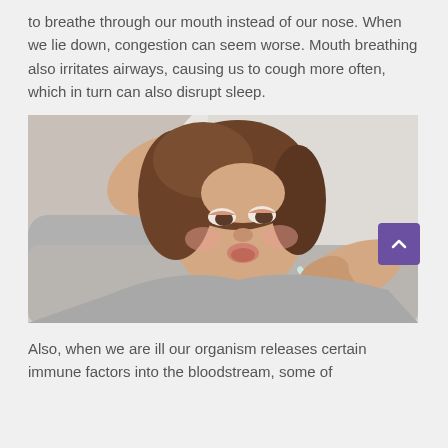to breathe through our mouth instead of our nose. When we lie down, congestion can seem worse. Mouth breathing also irritates airways, causing us to cough more often, which in turn can also disrupt sleep.
[Figure (photo): A woman lying down looking ill, holding a thermometer to her mouth with one hand and touching her forehead with the other, appearing to check her temperature while sick in bed.]
Also, when we are ill our organism releases certain immune factors into the bloodstream, some of